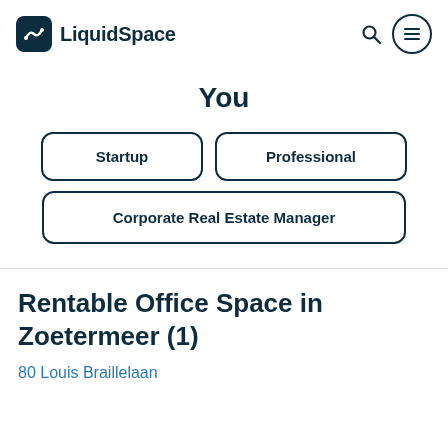LiquidSpace
You
Startup
Professional
Corporate Real Estate Manager
Rentable Office Space in Zoetermeer (1)
80 Louis Braillelaan